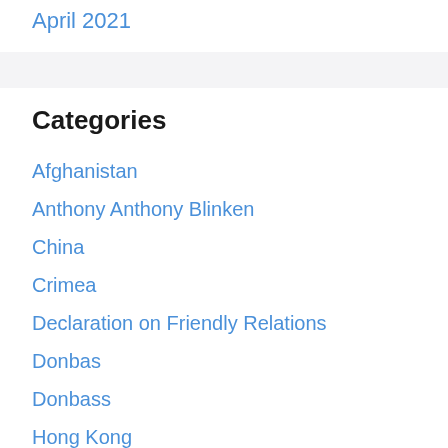April 2021
Categories
Afghanistan
Anthony Anthony Blinken
China
Crimea
Declaration on Friendly Relations
Donbas
Donbass
Hong Kong
Joe Biden